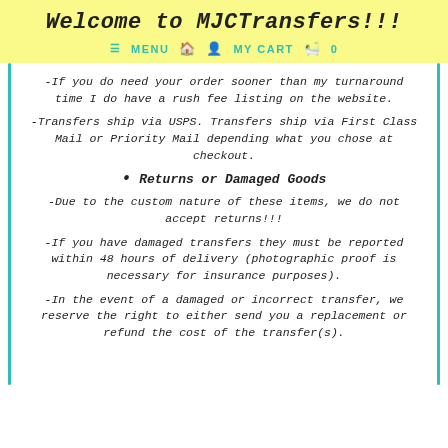Welcome to MJCTransfers!!!
≡ MENU  🏠  👤  MY CART  🛍  0
-If you do need your order sooner than my turnaround time I do have a rush fee listing on the website.
-Transfers ship via USPS. Transfers ship via First Class Mail or Priority Mail depending what you chose at checkout.
Returns or Damaged Goods
-Due to the custom nature of these items, we do not accept returns!!!
-If you have damaged transfers they must be reported within 48 hours of delivery (photographic proof is necessary for insurance purposes).
-In the event of a damaged or incorrect transfer, we reserve the right to either send you a replacement or refund the cost of the transfer(s).